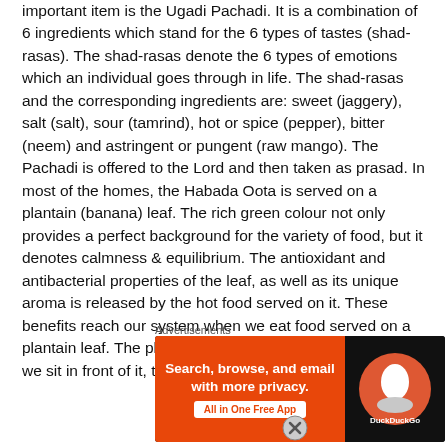important item is the Ugadi Pachadi. It is a combination of 6 ingredients which stand for the 6 types of tastes (shad-rasas). The shad-rasas denote the 6 types of emotions which an individual goes through in life. The shad-rasas and the corresponding ingredients are: sweet (jaggery), salt (salt), sour (tamrind), hot or spice (pepper), bitter (neem) and astringent or pungent (raw mango). The Pachadi is offered to the Lord and then taken as prasad. In most of the homes, the Habada Oota is served on a plantain (banana) leaf. The rich green colour not only provides a perfect background for the variety of food, but it denotes calmness & equilibrium. The antioxidant and antibacterial properties of the leaf, as well as its unique aroma is released by the hot food served on it. These benefits reach our system when we eat food served on a plantain leaf. The plantain leaf is placed such that when we sit in front of it, the veins
Advertisements
[Figure (infographic): DuckDuckGo advertisement banner with orange background on left side reading 'Search, browse, and email with more privacy. All in One Free App' and DuckDuckGo logo on dark right side.]